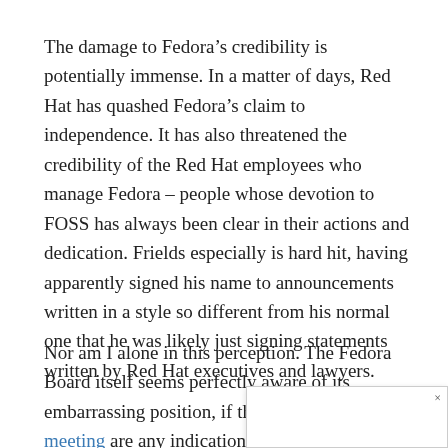The damage to Fedora’s credibility is potentially immense. In a matter of days, Red Hat has quashed Fedora’s claim to independence. It has also threatened the credibility of the Red Hat employees who manage Fedora – people whose devotion to FOSS has always been clear in their actions and dedication. Frields especially is hard hit, having apparently signed his name to announcements written in a style so different from his normal one that he was likely just signing statements written by Red Hat executives and lawyers.
Nor am I alone in this perception. The Fedora Board itself seems perfectly aware of its embarrassing position, if the minutes of its last meeting are any indication. As might be expected, much of the meeting was devoted to “discussion about the incident handling” and the summary expresses concerns that officially neither [...]